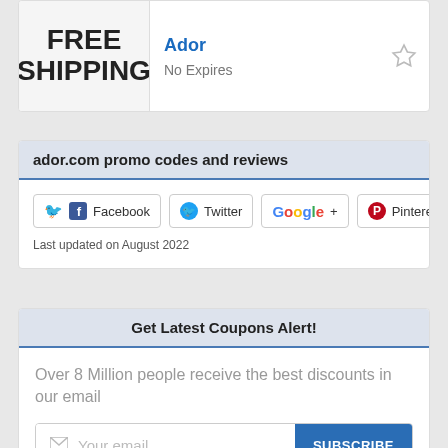[Figure (other): Coupon card for Ador showing FREE SHIPPING text on left, store name Ador and No Expires label on right, with star bookmark icon]
ador.com promo codes and reviews
[Figure (infographic): Social share buttons: Facebook, Twitter, Google+, Pinterest]
Last updated on August 2022
Get Latest Coupons Alert!
Over 8 Million people receive the best discounts in our email
Your email  SUBSCRIBE